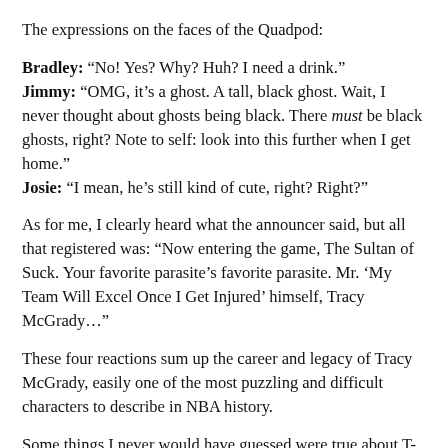The expressions on the faces of the Quadpod:
Bradley: “No! Yes? Why? Huh? I need a drink.” Jimmy: “OMG, it’s a ghost. A tall, black ghost. Wait, I never thought about ghosts being black. There must be black ghosts, right? Note to self: look into this further when I get home.” Josie: “I mean, he’s still kind of cute, right? Right?”
As for me, I clearly heard what the announcer said, but all that registered was: “Now entering the game, The Sultan of Suck. Your favorite parasite’s favorite parasite. Mr. ‘My Team Will Excel Once I Get Injured’ himself, Tracy McGrady…”
These four reactions sum up the career and legacy of Tracy McGrady, easily one of the most puzzling and difficult characters to describe in NBA history.
Some things I never would have guessed were true about T-Mac:
32-years-old (easily had him only a few footsteps behind LeBron. He was, let 50)